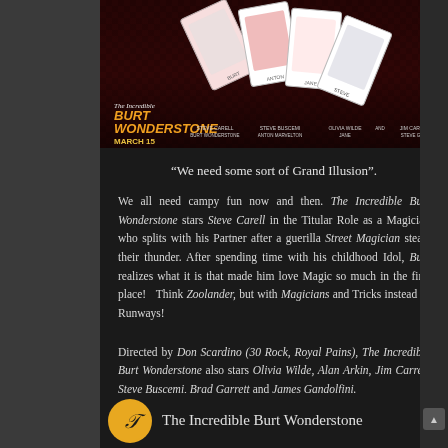[Figure (photo): Movie poster for The Incredible Burt Wonderstone showing playing card themed characters on a dark red background with title text and cast names including Burt Wonderstone, Anton Marvelton, Jane, Steve Gray, and the date March 15]
“We need some sort of Grand Illusion”.
We all need campy fun now and then. The Incredible Burt Wonderstone stars Steve Carell in the Titular Role as a Magician who splits with his Partner after a guerilla Street Magician steals their thunder. After spending time with his childhood Idol, Burt realizes what it is that made him love Magic so much in the first place! Think Zoolander, but with Magicians and Tricks instead of Runways!
Directed by Don Scardino (30 Rock, Royal Pains), The Incredible Burt Wonderstone also stars Olivia Wilde, Alan Arkin, Jim Carrey, Steve Buscemi, Brad Garrett and James Gandolfini.
Watch the Trailer below:
The Incredible Burt Wonderstone